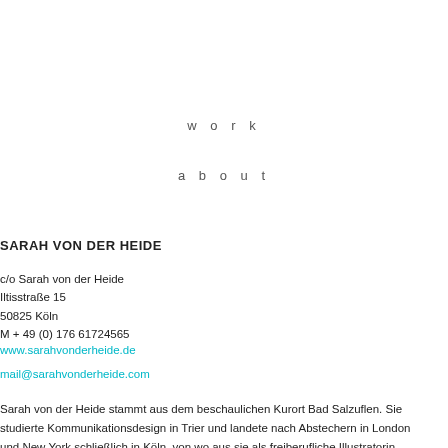w o r k
a b o u t
SARAH VON DER HEIDE
c/o Sarah von der Heide
Iltisstraße 15
50825 Köln
M + 49 (0) 176 61724565
www.sarahvonderheide.de
mail@sarahvonderheide.com
Sarah von der Heide stammt aus dem beschaulichen Kurort Bad Salzuflen. Sie studierte Kommunikationsdesign in Trier und landete nach Abstechern in London und New York schließlich in Köln, von wo aus sie als freiberufliche Illustratorin, Designerin und Beraterin ...